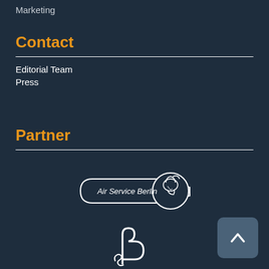Marketing
Contact
Editorial Team
Press
Partner
[Figure (logo): Air Service Berlin logo with a circular emblem showing a helmeted figure and a banner-style text plaque reading 'Air Service Berlin']
[Figure (logo): Partial SB logo outline in white at bottom center]
[Figure (other): Back-to-top button with upward chevron arrow on dark teal rounded square background]